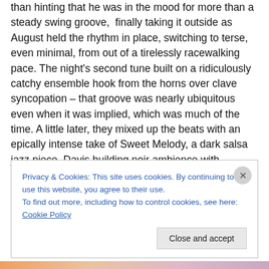than hinting that he was in the mood for more than a steady swing groove, finally taking it outside as August held the rhythm in place, switching to terse, even minimal, from out of a tirelessly racewalking pace. The night's second tune built on a ridiculously catchy ensemble hook from the horns over clave syncopation – that groove was nearly ubiquitous even when it was implied, which was much of the time. A little later, they mixed up the beats with an epically intense take of Sweet Melody, a dark salsa jazz piece, Davis building noir ambience with lingering, glimmering chromatics over Royston's hypnotically simple
Privacy & Cookies: This site uses cookies. By continuing to use this website, you agree to their use.
To find out more, including how to control cookies, see here: Cookie Policy